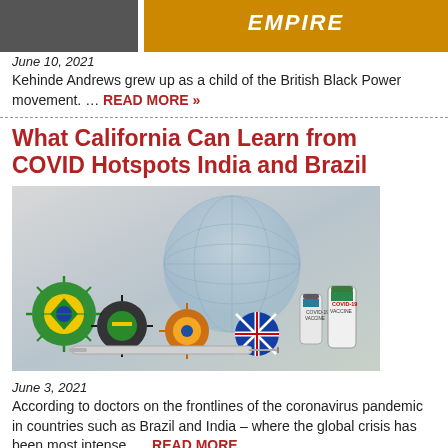[Figure (photo): Partial photo of a person and an orange 'EMPIRE' banner/logo in bold italic text]
June 10, 2021
Kehinde Andrews grew up as a child of the British Black Power movement. … READ MORE »
What California Can Learn from COVID Hotspots India and Brazil
[Figure (photo): COVID-19 themed image showing coronavirus models decorated with various country flags (Brazil, South Africa, India, UK, others), vaccine vials labeled COVID-19 VACCINE, a syringe, and a globe in the background]
June 3, 2021
According to doctors on the frontlines of the coronavirus pandemic in countries such as Brazil and India – where the global crisis has been most intense. … READ MORE